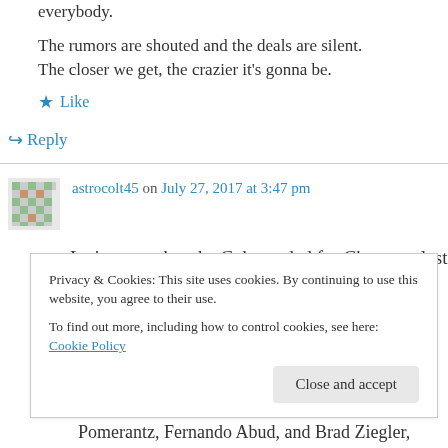everybody.
The rumors are shouted and the deals are silent. The closer we get, the crazier it's gonna be.
★ Like
↳ Reply
astrocolt45 on July 27, 2017 at 3:47 pm
Let's remember the Cubs traded for Chapman last year and won the World Series. (And then lost him again.)
Privacy & Cookies: This site uses cookies. By continuing to use this website, you agree to their use. To find out more, including how to control cookies, see here: Cookie Policy
Close and accept
Pomerantz, Fernando Abud, and Brad Ziegler,